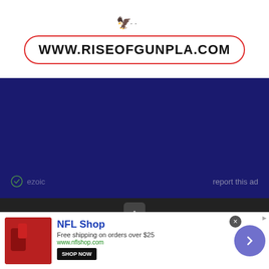[Figure (logo): Website logo banner for www.riseofgunpla.com with red bordered URL box and small graphic at top]
[Figure (infographic): Dark navy blue ad section with ezoic label on the left and 'report this ad' text on the right]
[Figure (infographic): Dark footer section with scroll-to-top button and 'Created By ThemeXpose' text]
No compatible source was found for this media.
[Figure (infographic): NFL Shop advertisement banner with shop thumbnail, NFL Shop title, free shipping text, www.nflshop.com, SHOP NOW button, close button, and navigation arrow]